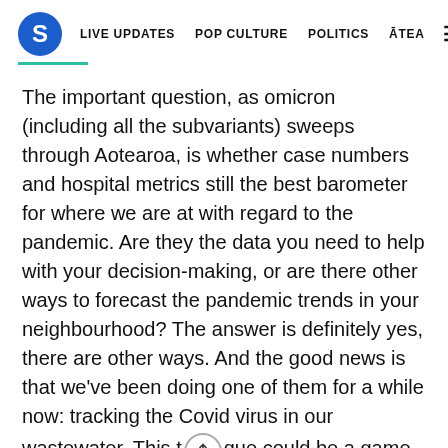S  LIVE UPDATES  POP CULTURE  POLITICS  ĀTEA  ☰
The important question, as omicron (including all the subvariants) sweeps through Aotearoa, is whether case numbers and hospital metrics still the best barometer for where we are at with regard to the pandemic. Are they the data you need to help with your decision-making, or are there other ways to forecast the pandemic trends in your neighbourhood? The answer is definitely yes, there are other ways. And the good news is that we've been doing one of them for a while now: tracking the Covid virus in our wastewater. This t[share icon]que could be a game-changer for us moving forward. Let's unpack why.